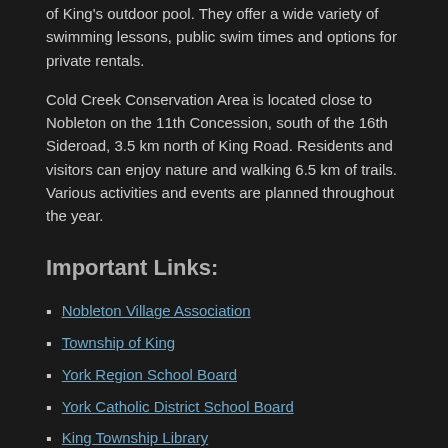of King's outdoor pool. They offer a wide variety of swimming lessons, public swim times and options for private rentals.
Cold Creek Conservation Area is located close to Nobleton on the 11th Concession, south of the 16th Sideroad, 3.5 km north of King Road. Residents and visitors can enjoy nature and walking 6.5 km of trails. Various activities and events are planned throughout the year.
Important Links:
Nobleton Village Association
Township of King
York Region School Board
York Catholic District School Board
King Township Library